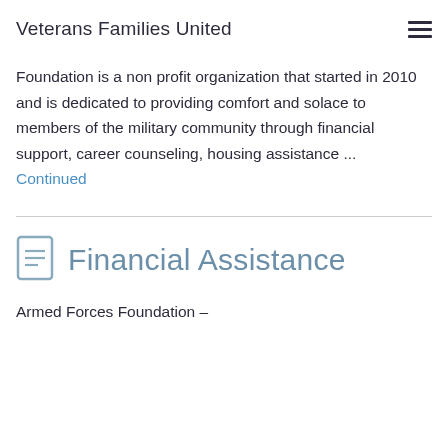Veterans Families United
Foundation is a non profit organization that started in 2010 and is dedicated to providing comfort and solace to members of the military community through financial support, career counseling, housing assistance ...
Continued
Financial Assistance
Armed Forces Foundation –